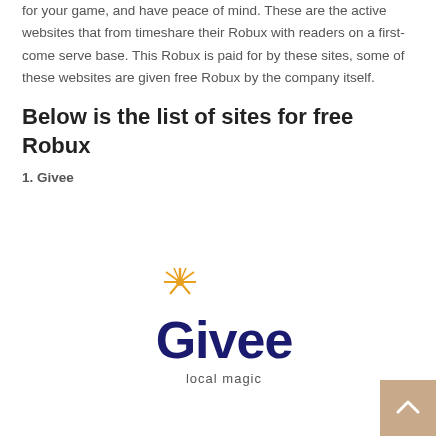for your game, and have peace of mind.  These are the active websites that from timeshare their Robux with readers on a first-come serve base. This Robux is paid for by these sites, some of these websites are given free Robux by the company itself.
Below is the list of sites for free Robux
1. Givee
[Figure (logo): Givee logo — stylized text 'Givee' in dark navy blue with a gold starburst above the 'G', and tagline 'local magic' beneath in smaller text]